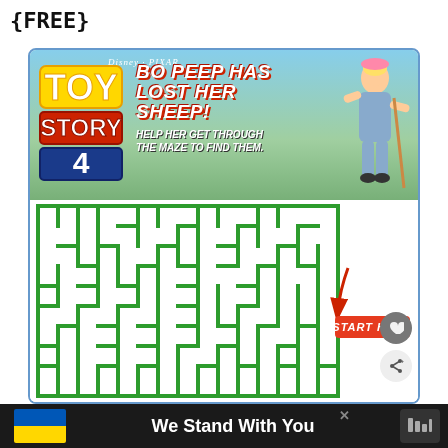{FREE}
[Figure (illustration): Toy Story 4 Disney Pixar promotional maze activity page. Shows the Toy Story 4 logo on left, text 'BO PEEP HAS LOST HER SHEEP! HELP HER GET THROUGH THE MAZE TO FIND THEM.' in center, Bo Peep character on upper right, and a green maze puzzle below with a red 'START HERE' label and arrow on the right side.]
We Stand With You
[Figure (illustration): Ukrainian flag (blue and yellow) displayed on the left side of the bottom bar.]